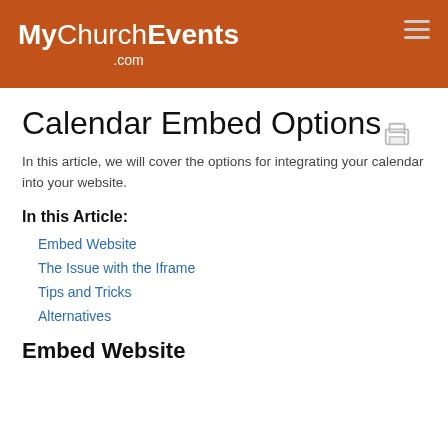MyChurchEvents.com
Calendar Embed Options
In this article, we will cover the options for integrating your calendar into your website.
In this Article:
Embed Website
The Issue with the Iframe
Tips and Tricks
Alternatives
Embed Website